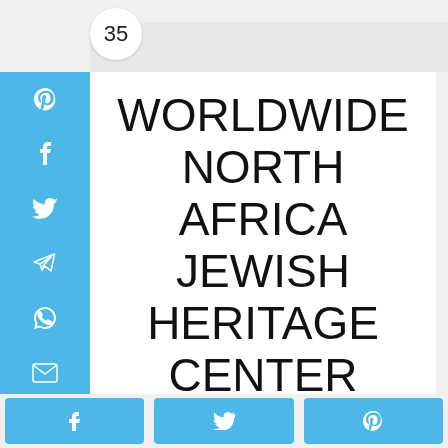35
WORLDWIDE NORTH AFRICA JEWISH HERITAGE CENTER
The Worldwide North Africa Jewish Heritage Center is